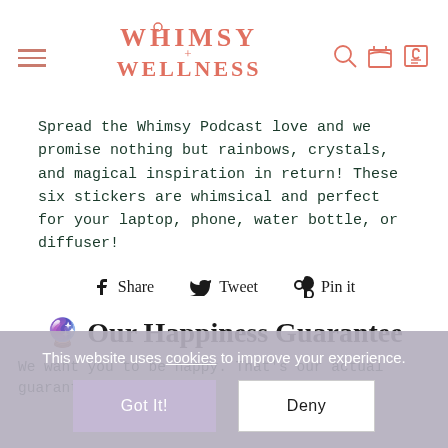Whimsy + Wellness (navigation header with logo and icons)
Spread the Whimsy Podcast love and we promise nothing but rainbows, crystals, and magical inspiration in return! These six stickers are whimsical and perfect for your laptop, phone, water bottle, or diffuser!
Share  Tweet  Pin it
🔮 Our Happiness Guarantee
We want you to be happy. That's our actual guarantee. So if f...
This website uses cookies to improve your experience.
Got It!  Deny